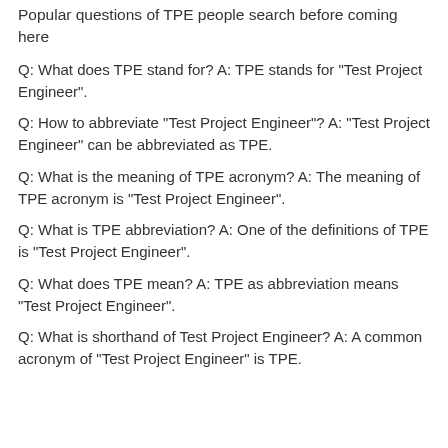Popular questions of TPE people search before coming here
Q: What does TPE stand for? A: TPE stands for "Test Project Engineer".
Q: How to abbreviate "Test Project Engineer"? A: "Test Project Engineer" can be abbreviated as TPE.
Q: What is the meaning of TPE acronym? A: The meaning of TPE acronym is "Test Project Engineer".
Q: What is TPE abbreviation? A: One of the definitions of TPE is "Test Project Engineer".
Q: What does TPE mean? A: TPE as abbreviation means "Test Project Engineer".
Q: What is shorthand of Test Project Engineer? A: A common acronym of "Test Project Engineer" is TPE.